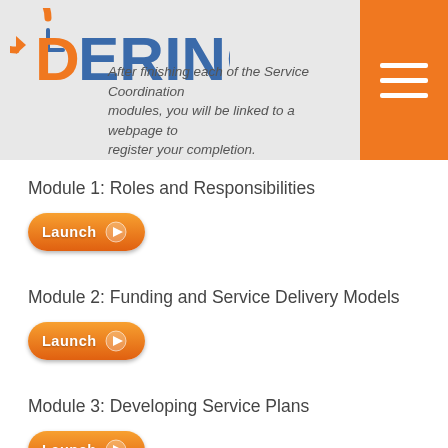DERING — After finishing each of the Service Coordination modules, you will be linked to a webpage to register your completion.
Module 1: Roles and Responsibilities
[Figure (other): Orange Launch button with play icon]
Module 2: Funding and Service Delivery Models
[Figure (other): Orange Launch button with play icon]
Module 3: Developing Service Plans
[Figure (other): Orange Launch button with play icon (partially visible)]